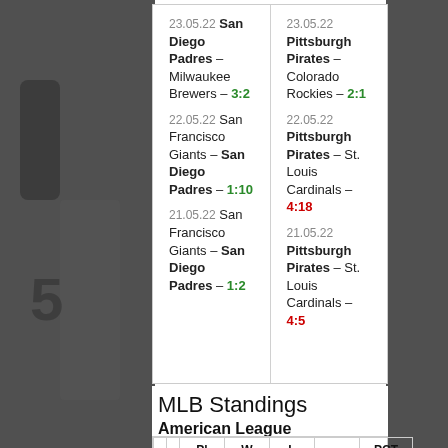|  |  |
| --- | --- |
| 23.05.22 San Diego Padres – Milwaukee Brewers – 3:2 | 23.05.22 Pittsburgh Pirates – Colorado Rockies – 2:1 |
| 22.05.22 San Francisco Giants – San Diego Padres – 1:10 | 22.05.22 Pittsburgh Pirates – St. Louis Cardinals – 4:18 |
| 21.05.22 San Francisco Giants – San Diego Padres – 1:2 | 21.05.22 Pittsburgh Pirates – St. Louis Cardinals – 4:5 |
MLB Standings
American League
|  |  | Pl | W | L |  | PCT |
| --- | --- | --- | --- | --- | --- | --- |